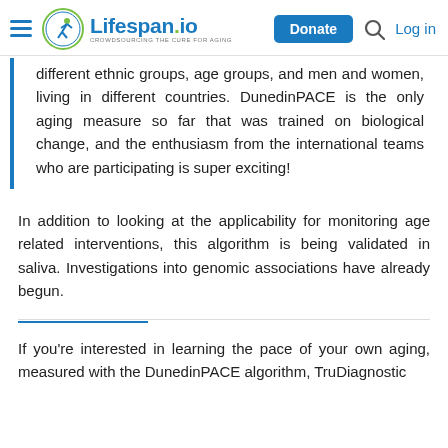Lifespan.io | Donate | Log in
different ethnic groups, age groups, and men and women, living in different countries. DunedinPACE is the only aging measure so far that was trained on biological change, and the enthusiasm from the international teams who are participating is super exciting!
In addition to looking at the applicability for monitoring age related interventions, this algorithm is being validated in saliva. Investigations into genomic associations have already begun.
If you're interested in learning the pace of your own aging, measured with the DunedinPACE algorithm, TruDiagnostic